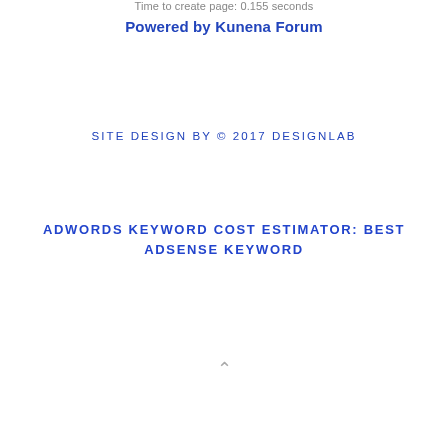Time to create page: 0.155 seconds
Powered by Kunena Forum
SITE DESIGN BY © 2017 DESIGNLAB
ADWORDS KEYWORD COST ESTIMATOR: BEST ADSENSE KEYWORD